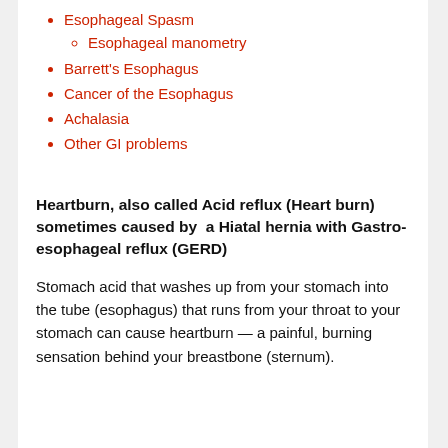Esophageal Spasm
Esophageal manometry
Barrett's Esophagus
Cancer of the Esophagus
Achalasia
Other GI problems
Heartburn, also called Acid reflux (Heart burn) sometimes caused by  a Hiatal hernia with Gastro-esophageal reflux (GERD)
Stomach acid that washes up from your stomach into the tube (esophagus) that runs from your throat to your stomach can cause heartburn — a painful, burning sensation behind your breastbone (sternum).